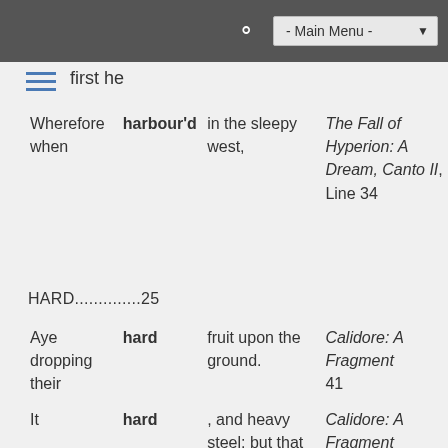- Main Menu -
first he
| Wherefore when | harbour'd | in the sleepy west, | The Fall of Hyperion: A Dream, Canto II, Line 34 |
HARD..............25
| Aye dropping their | hard | fruit upon the ground. | Calidore: A Fragment 41 |
| It | hard | , and heavy steel: but that indeed | Calidore: A Fragment 118 |
| As | hard | as lips can | Sleep and Poetry... |